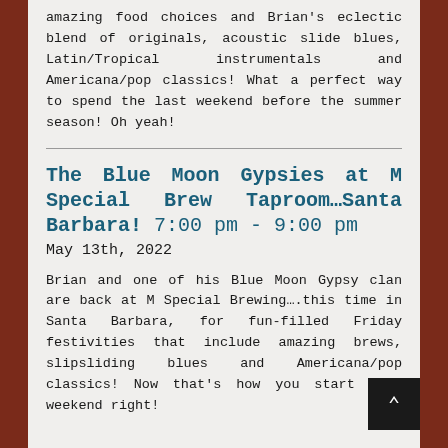amazing food choices and Brian's eclectic blend of originals, acoustic slide blues, Latin/Tropical instrumentals and Americana/pop classics! What a perfect way to spend the last weekend before the summer season!  Oh yeah!
The Blue Moon Gypsies at M Special Brew Taproom…Santa Barbara! 7:00 pm - 9:00 pm
May 13th, 2022
Brian and one of his Blue Moon Gypsy clan are back at M Special Brewing….this time in Santa Barbara, for fun-filled Friday festivities that include amazing brews, slipsliding blues and Americana/pop classics!  Now that's how you start your weekend right!